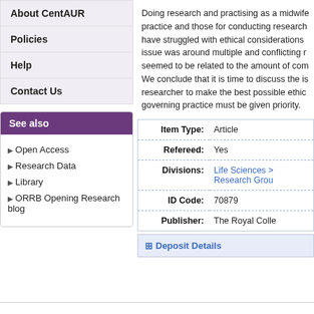About CentAUR
Policies
Help
Contact Us
See also
Open Access
Research Data
Library
ORRB Opening Research blog
Doing research and practising as a midwife practice and those for conducting research have struggled with ethical considerations issue was around multiple and conflicting r seemed to be related to the amount of com We conclude that it is time to discuss the is researcher to make the best possible ethic governing practice must be given priority.
| Field | Value |
| --- | --- |
| Item Type: | Article |
| Refereed: | Yes |
| Divisions: | Life Sciences > Research Grou |
| ID Code: | 70879 |
| Publisher: | The Royal Colle |
＋ Deposit Details